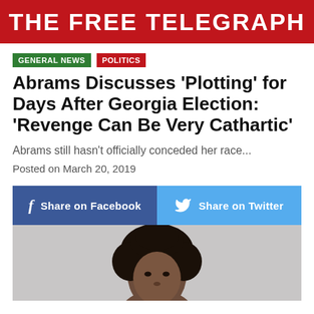THE FREE TELEGRAPH
GENERAL NEWS
POLITICS
Abrams Discusses ‘Plotting’ for Days After Georgia Election: ‘Revenge Can Be Very Cathartic’
Abrams still hasn't officially conceded her race...
Posted on March 20, 2019
[Figure (infographic): Social sharing buttons: Share on Facebook (blue) and Share on Twitter (light blue)]
[Figure (photo): Photo of a woman with natural curly hair against a grey background, cropped to show head and upper shoulders]